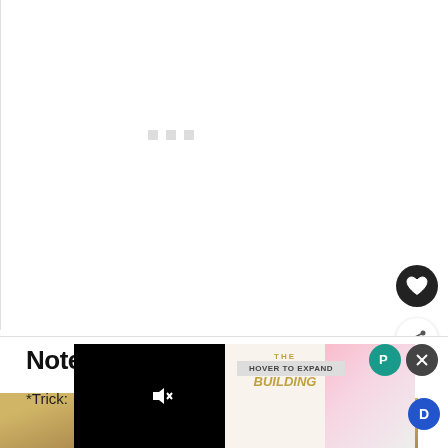[Figure (screenshot): White content area with loading dots (three small squares) indicating content loading, with a heart/favorite button and share button on the right side]
Note
*Trick:
[Figure (screenshot): Video overlay panel (black background with mute icon), Empire State Building advertisement, and close/P buttons]